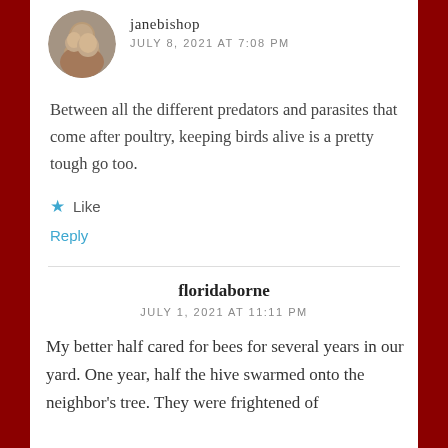[Figure (photo): Circular avatar photo of a man and woman, appears to be a selfie or close-up photo]
janebishop
JULY 8, 2021 AT 7:08 PM
Between all the different predators and parasites that come after poultry, keeping birds alive is a pretty tough go too.
★ Like
Reply
floridaborne
JULY 1, 2021 AT 11:11 PM
My better half cared for bees for several years in our yard. One year, half the hive swarmed onto the neighbor's tree. They were frightened of